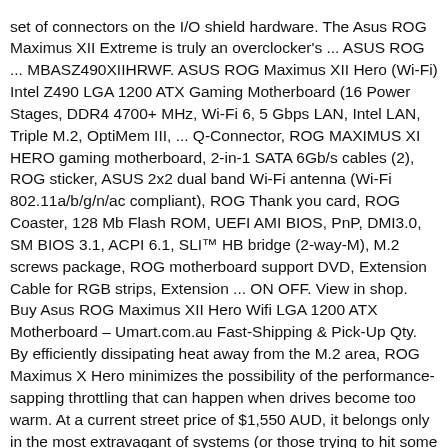set of connectors on the I/O shield hardware. The Asus ROG Maximus XII Extreme is truly an overclocker's ... ASUS ROG ... MBASZ490XIIHRWF. ASUS ROG Maximus XII Hero (Wi-Fi) Intel Z490 LGA 1200 ATX Gaming Motherboard (16 Power Stages, DDR4 4700+ MHz, Wi-Fi 6, 5 Gbps LAN, Intel LAN, Triple M.2, OptiMem III, ... Q-Connector, ROG MAXIMUS XI HERO gaming motherboard, 2-in-1 SATA 6Gb/s cables (2), ROG sticker, ASUS 2x2 dual band Wi-Fi antenna (Wi-Fi 802.11a/b/g/n/ac compliant), ROG Thank you card, ROG Coaster, 128 Mb Flash ROM, UEFI AMI BIOS, PnP, DMI3.0, SM BIOS 3.1, ACPI 6.1, SLI™ HB bridge (2-way-M), M.2 screws package, ROG motherboard support DVD, Extension Cable for RGB strips, Extension ... ON OFF. View in shop. Buy Asus ROG Maximus XII Hero Wifi LGA 1200 ATX Motherboard – Umart.com.au Fast-Shipping & Pick-Up Qty. By efficiently dissipating heat away from the M.2 area, ROG Maximus X Hero minimizes the possibility of the performance-sapping throttling that can happen when drives become too warm. At a current street price of $1,550 AUD, it belongs only in the most extravagant of systems (or those trying to hit some eye-catching score) and will be retired from ...